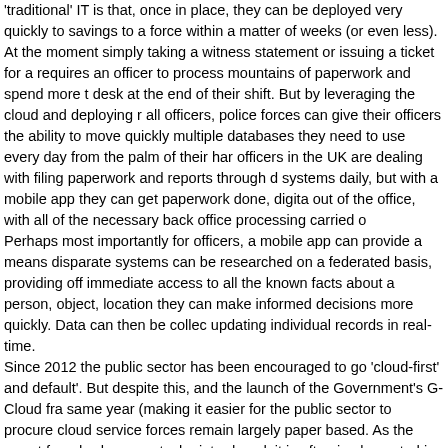'traditional' IT is that, once in place, they can be deployed very quickly to savings to a force within a matter of weeks (or even less). At the moment simply taking a witness statement or issuing a ticket for a requires an officer to process mountains of paperwork and spend more t desk at the end of their shift. But by leveraging the cloud and deploying r all officers, police forces can give their officers the ability to move quickly multiple databases they need to use every day from the palm of their har officers in the UK are dealing with filing paperwork and reports through d systems daily, but with a mobile app they can get paperwork done, digita out of the office, with all of the necessary back office processing carried o Perhaps most importantly for officers, a mobile app can provide a means disparate systems can be researched on a federated basis, providing off immediate access to all the known facts about a person, object, location they can make informed decisions more quickly. Data can then be collec updating individual records in real-time. Since 2012 the public sector has been encouraged to go 'cloud-first' and default'. But despite this, and the launch of the Government's G-Cloud fra same year (making it easier for the public sector to procure cloud service forces remain largely paper based. As the report found, when new techn introduced, it is often implemented in 'piecemeal fashion'. With IT adoptio still lagging behind, it is no surprise to see that the cloud is not yet widely Digitisation will save police forces valuable time, as well as an untold an